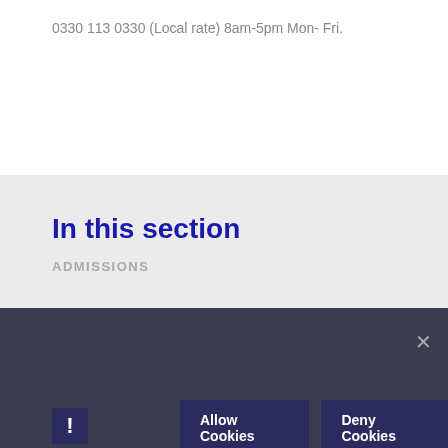0330 113 0330 (Local rate) 8am-5pm Mon- Fri.
In this section
ADMISSIONS
Cookie Policy
This site uses cookies to store information on your computer. Click here for more information
Allow Cookies
Deny Cookies